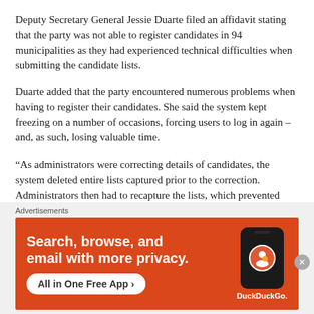Deputy Secretary General Jessie Duarte filed an affidavit stating that the party was not able to register candidates in 94 municipalities as they had experienced technical difficulties when submitting the candidate lists.
Duarte added that the party encountered numerous problems when having to register their candidates. She said the system kept freezing on a number of occasions, forcing users to log in again – and, as such, losing valuable time.
“As administrators were correcting details of candidates, the system deleted entire lists captured prior to the correction. Administrators then had to recapture the lists, which prevented
[Figure (other): DuckDuckGo advertisement banner with orange background showing 'Search, browse, and email with more privacy. All in One Free App' with a phone mockup and DuckDuckGo logo]